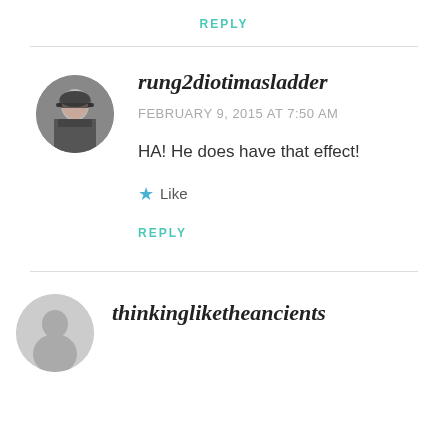REPLY
[Figure (photo): Circular avatar photo of a woman wearing sunglasses and dark clothing]
rung2diotimasladder
FEBRUARY 9, 2015 AT 7:50 AM
HA! He does have that effect!
Like
REPLY
[Figure (illustration): Circular gray avatar placeholder]
thinkingliketheancients